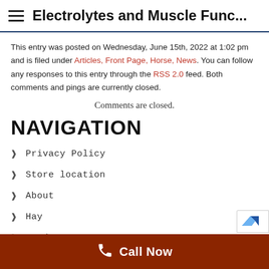Electrolytes and Muscle Func...
This entry was posted on Wednesday, June 15th, 2022 at 1:02 pm and is filed under Articles, Front Page, Horse, News. You can follow any responses to this entry through the RSS 2.0 feed. Both comments and pings are currently closed.
Comments are closed.
NAVIGATION
Privacy Policy
Store location
About
Hay
Products
Call Now